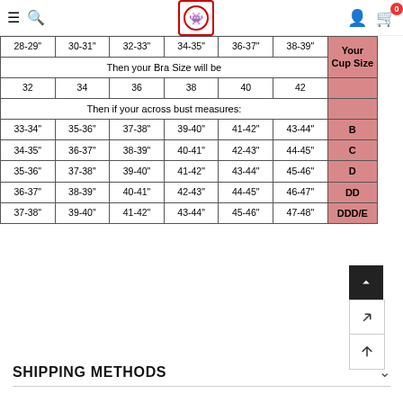Navigation bar with hamburger menu, search icon, logo, user icon, cart (0)
| 28-29" | 30-31" | 32-33" | 34-35" | 36-37" | 38-39" | Your Cup Size |
| --- | --- | --- | --- | --- | --- | --- |
| Then your Bra Size will be |  |  |  |  |  |  |
| 32 | 34 | 36 | 38 | 40 | 42 |  |
| Then if your across bust measures: |  |  |  |  |  |  |
| 33-34" | 35-36" | 37-38" | 39-40" | 41-42" | 43-44" | B |
| 34-35" | 36-37" | 38-39" | 40-41" | 42-43" | 44-45" | C |
| 35-36" | 37-38" | 39-40" | 41-42" | 43-44" | 45-46" | D |
| 36-37" | 38-39" | 40-41" | 42-43" | 44-45" | 46-47" | DD |
| 37-38" | 39-40" | 41-42" | 43-44" | 45-46" | 47-48" | DDD/E |
SHIPPING METHODS